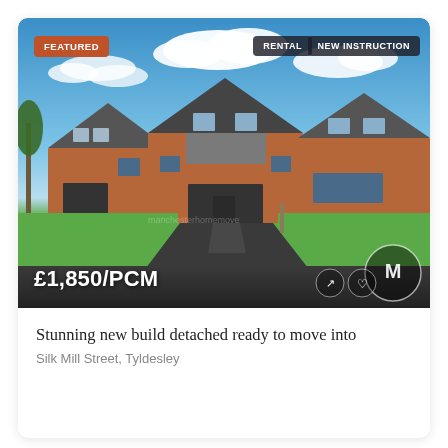[Figure (photo): Photograph of a new build detached house with brick facade, grey roof, double garage, tarmac driveway, and green lawn. Blue sky with clouds. Badges: FEATURED (orange), RENTAL (dark), NEW INSTRUCTION (dark). Price £1,850/PCM shown at bottom left of photo.]
Stunning new build detached ready to move into
Silk Mill Street, Tyldesley